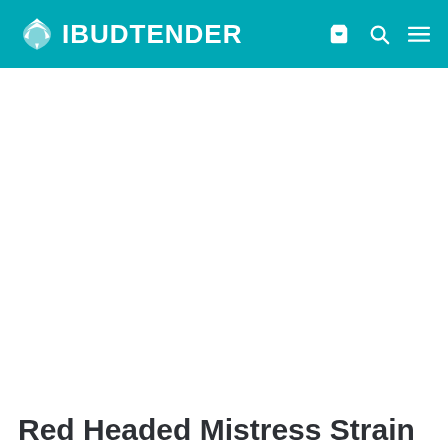IBUDTENDER
Red Headed Mistress Strain